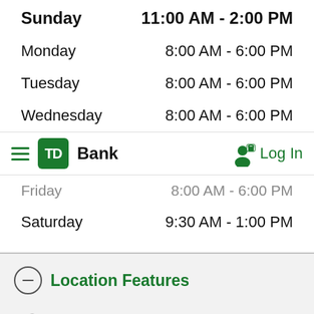| Day | Hours |
| --- | --- |
| Sunday | 11:00 AM - 2:00 PM |
| Monday | 8:00 AM - 6:00 PM |
| Tuesday | 8:00 AM - 6:00 PM |
| Wednesday | 8:00 AM - 6:00 PM |
| Friday | 8:00 AM - 6:00 PM |
| Saturday | 9:30 AM - 1:00 PM |
[Figure (logo): TD Bank logo with hamburger menu and Log In button]
Location Features
Wifi available
Open Sundays